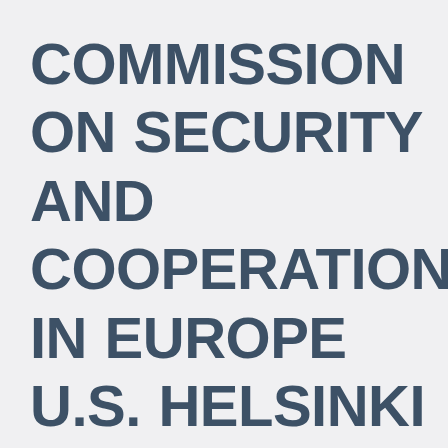COMMISSION ON SECURITY AND COOPERATION IN EUROPE U.S. HELSINKI COMMISSION